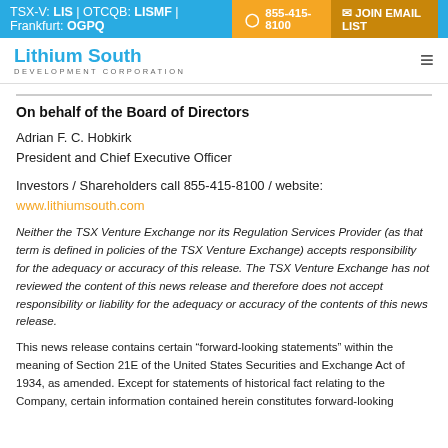TSX-V: LIS | OTCQB: LISMF | Frankfurt: OGPQ | 855-415-8100 | JOIN EMAIL LIST
[Figure (logo): Lithium South Development Corporation logo with hamburger menu icon]
On behalf of the Board of Directors
Adrian F. C. Hobkirk
President and Chief Executive Officer
Investors / Shareholders call 855-415-8100 / website:
www.lithiumsouth.com
Neither the TSX Venture Exchange nor its Regulation Services Provider (as that term is defined in policies of the TSX Venture Exchange) accepts responsibility for the adequacy or accuracy of this release. The TSX Venture Exchange has not reviewed the content of this news release and therefore does not accept responsibility or liability for the adequacy or accuracy of the contents of this news release.
This news release contains certain “forward-looking statements” within the meaning of Section 21E of the United States Securities and Exchange Act of 1934, as amended. Except for statements of historical fact relating to the Company, certain information contained herein constitutes forward-looking